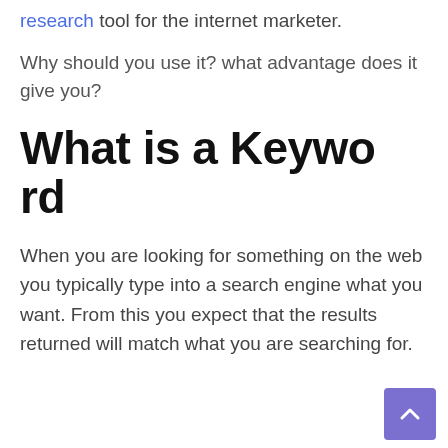research tool for the internet marketer.
Why should you use it? what advantage does it give you?
What is a Keyword
When you are looking for something on the web you typically type into a search engine what you want. From this you expect that the results returned will match what you are searching for.